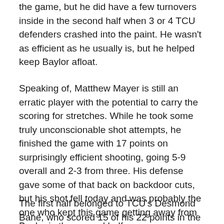the game, but he did have a few turnovers inside in the second half when 3 or 4 TCU defenders crashed into the paint. He wasn't as efficient as he usually is, but he helped keep Baylor afloat.
Speaking of, Matthew Mayer is still an erratic player with the potential to carry the scoring for stretches. While he took some truly unconscionable shot attempts, he finished the game with 17 points on surprisingly efficient shooting, going 5-9 overall and 2-3 from three. His defense gave some of that back on backdoor cuts, but his shot fell today and was probably the one who kept this game getting away from Baylor in the second half.
The first half belonged to TCU's Desmond Bane, who scored 15 of his 22 points in the first period. His scoring came from every level, dropping 2-4 from deep...